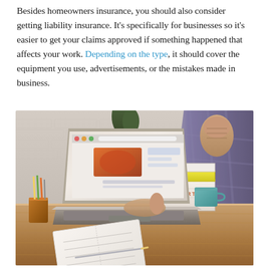Besides homeowners insurance, you should also consider getting liability insurance. It's specifically for businesses so it's easier to get your claims approved if something happened that affects your work. Depending on the type, it should cover the equipment you use, advertisements, or the mistakes made in business.
[Figure (photo): A person sitting at a wooden desk working on a MacBook laptop. On the desk there are books including one labeled 'STARTUP', a teal mug, a copper pen holder, and an open notebook with a pencil. The background shows a white brick wall. The person is wearing a plaid shirt and has one hand raised.]